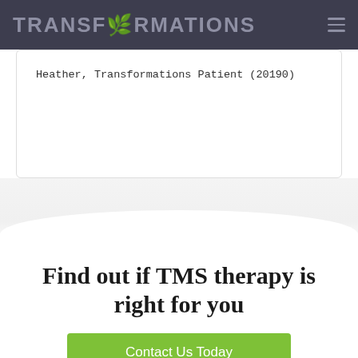TRANSFORMATIONS
Heather, Transformations Patient (20190)
Find out if TMS therapy is right for you
Contact Us Today